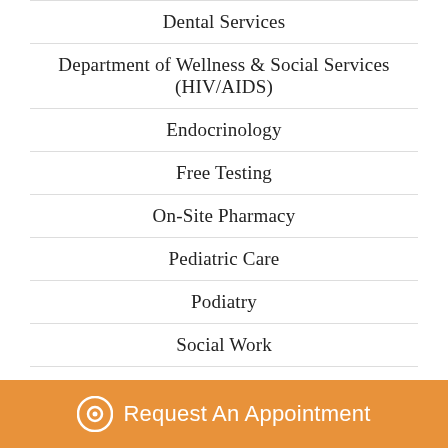Dental Services
Department of Wellness & Social Services (HIV/AIDS)
Endocrinology
Free Testing
On-Site Pharmacy
Pediatric Care
Podiatry
Social Work
Women’s Health Services-OB/GYN
Women, Infants and Children (WIC) Program
Request An Appointment